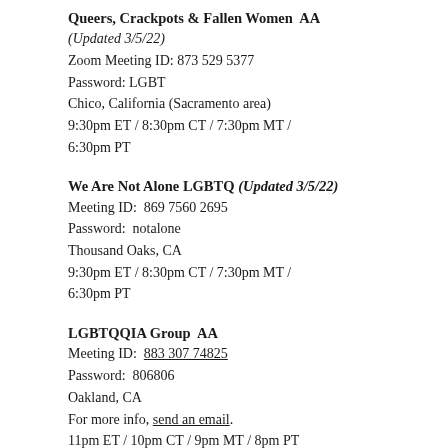Queers, Crackpots & Fallen Women  AA
(Updated 3/5/22)
Zoom Meeting ID: 873 529 5377
Password: LGBT
Chico, California (Sacramento area)
9:30pm ET / 8:30pm CT / 7:30pm MT / 6:30pm PT
We Are Not Alone LGBTQ (Updated 3/5/22)
Meeting ID:  869 7560 2695
Password:  notalone
Thousand Oaks, CA
9:30pm ET / 8:30pm CT / 7:30pm MT / 6:30pm PT
LGBTQQIA Group  AA
Meeting ID:  883 307 74825
Password:  806806
Oakland, CA
For more info, send an email.
11pm ET / 10pm CT / 9pm MT / 8pm PT
Hollywood Squares  AA Updated 3/5/22)
Meeting ID: 299 908 121